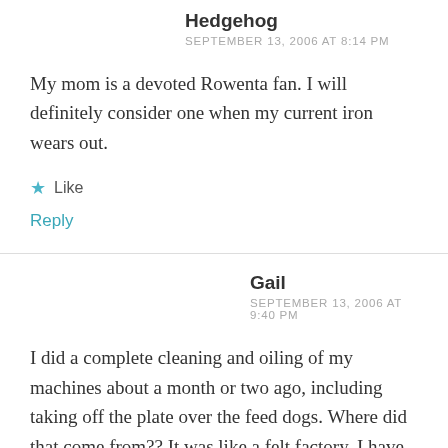Hedgehog
SEPTEMBER 13, 2006 AT 8:14 PM
My mom is a devoted Rowenta fan. I will definitely consider one when my current iron wears out.
★ Like
Reply
Gail
SEPTEMBER 13, 2006 AT 9:40 PM
I did a complete cleaning and oiling of my machines about a month or two ago, including taking off the plate over the feed dogs. Where did that come from?? It was like a felt factory. I have